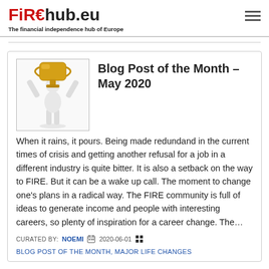FIREhub.eu – The financial independence hub of Europe
Blog Post of the Month – May 2020
[Figure (illustration): A 3D white figure holding a gold trophy above its head]
When it rains, it pours. Being made redundand in the current times of crisis and getting another refusal for a job in a different industry is quite bitter. It is also a setback on the way to FIRE. But it can be a wake up call. The moment to change one's plans in a radical way. The FIRE community is full of ideas to generate income and people with interesting careers, so plenty of inspiration for a career change. The…
CURATED BY: NOEMI  2020-06-01
BLOG POST OF THE MONTH, MAJOR LIFE CHANGES